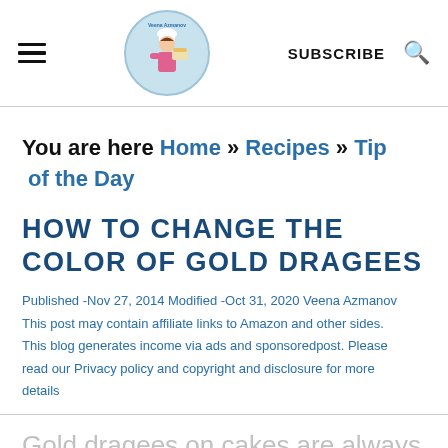Veena Azmanov — SUBSCRIBE [search icon]
You are here Home » Recipes » Tip of the Day
HOW TO CHANGE THE COLOR OF GOLD DRAGEES
Published -Nov 27, 2014 Modified -Oct 31, 2020 Veena Azmanov This post may contain affiliate links to Amazon and other sides. This blog generates income via ads and sponsoredpost. Please read our Privacy policy and copyright and disclosure for more details
Gold dragees on cakes are always